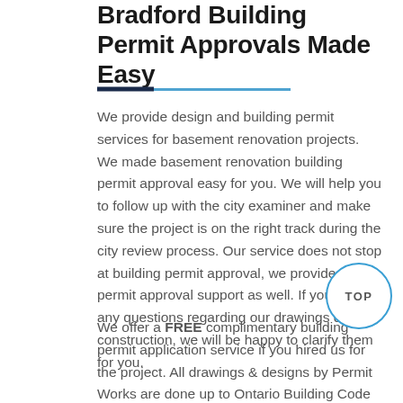Bradford Building Permit Approvals Made Easy
We provide design and building permit services for basement renovation projects. We made basement renovation building permit approval easy for you. We will help you to follow up with the city examiner and make sure the project is on the right track during the city review process. Our service does not stop at building permit approval, we provide post permit approval support as well. If you have any questions regarding our drawings during construction, we will be happy to clarify them for you.
We offer a FREE complimentary building permit application service if you hired us for the project. All drawings & designs by Permit Works are done up to Ontario Building Code requirements and stamped by a